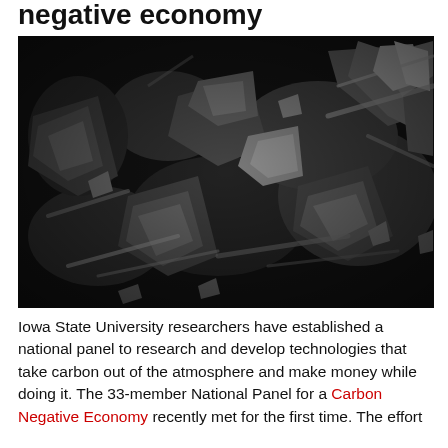negative economy
[Figure (photo): Scanning electron microscope (SEM) image of biochar or carbon material — grayscale, showing fibrous and crystalline carbon particles at high magnification against a dark background.]
Iowa State University researchers have established a national panel to research and develop technologies that take carbon out of the atmosphere and make money while doing it. The 33-member National Panel for a Carbon Negative Economy recently met for the first time. The effort